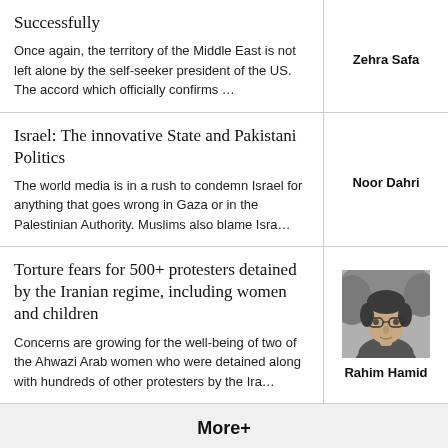Successfully
Once again, the territory of the Middle East is not left alone by the self-seeker president of the US. The accord which officially confirms …
Zehra Safa
Israel: The innovative State and Pakistani Politics
The world media is in a rush to condemn Israel for anything that goes wrong in Gaza or in the Palestinian Authority. Muslims also blame Isra…
Noor Dahri
Torture fears for 500+ protesters detained by the Iranian regime, including women and children
Concerns are growing for the well-being of two of the Ahwazi Arab women who were detained along with hundreds of other protesters by the Ira…
[Figure (photo): Black and white headshot photo of Rahim Hamid, a man with glasses]
Rahim Hamid
More+